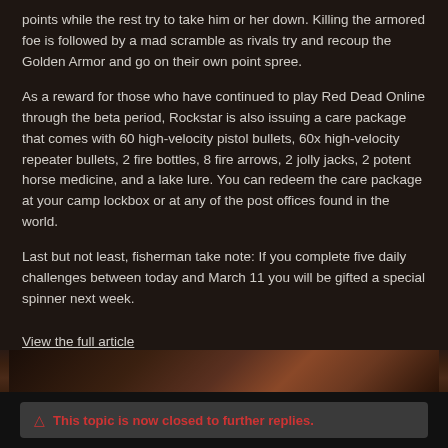points while the rest try to take him or her down. Killing the armored foe is followed by a mad scramble as rivals try and recoup the Golden Armor and go on their own point spree.
As a reward for those who have continued to play Red Dead Online through the beta period, Rockstar is also issuing a care package that comes with 60 high-velocity pistol bullets, 60x high-velocity repeater bullets, 2 fire bottles, 8 fire arrows, 2 jolly jacks, 2 potent horse medicine, and a lake lure. You can redeem the care package at your camp lockbox or at any of the post offices found in the world.
Last but not least, fisherman take note: If you complete five daily challenges between today and March 11 you will be gifted a special spinner next week.
View the full article
[Figure (photo): Dark game screenshot strip showing a dimly lit scene from Red Dead Online]
⚠ This topic is now closed to further replies.